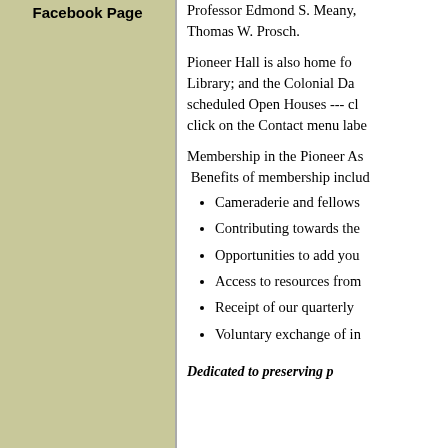Facebook Page
Professor Edmond S. Meany, Thomas W. Prosch.
Pioneer Hall is also home for Library; and the Colonial Da scheduled Open Houses --- cl click on the Contact menu labe
Membership in the Pioneer As Benefits of membership includ
Cameraderie and fellows
Contributing towards the
Opportunities to add you
Access to resources from
Receipt of our quarterly
Voluntary exchange of in
Dedicated to preserving p